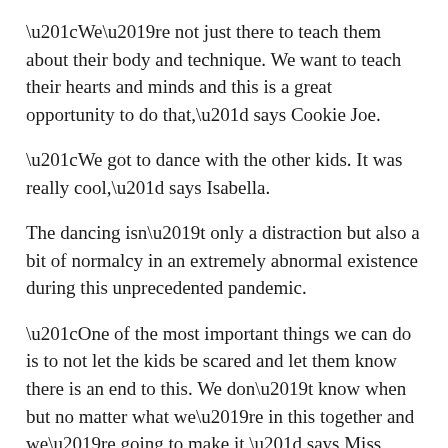“We’re not just there to teach them about their body and technique. We want to teach their hearts and minds and this is a great opportunity to do that,” says Cookie Joe.
“We got to dance with the other kids. It was really cool,” says Isabella.
The dancing isn’t only a distraction but also a bit of normalcy in an extremely abnormal existence during this unprecedented pandemic.
“One of the most important things we can do is to not let the kids be scared and let them know there is an end to this. We don’t know when but no matter what we’re in this together and we’re going to make it,” says Miss Cookie, as her kids call her.